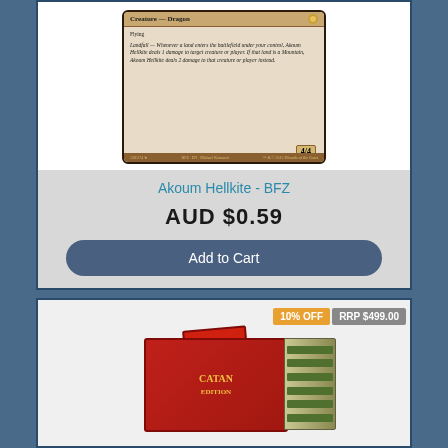[Figure (photo): Magic: The Gathering card - Akoum Hellkite, Creature Dragon, BFZ set. Shows card type bar, Flying ability, Landfall triggered ability text, and 4/4 power/toughness.]
Akoum Hellkite - BFZ
AUD $0.59
Add to Cart
10% OFF
RRP $499.00
[Figure (photo): Catan board game box product image showing a red box with gold Catan branding and a side panel with green card/tile contents visible.]